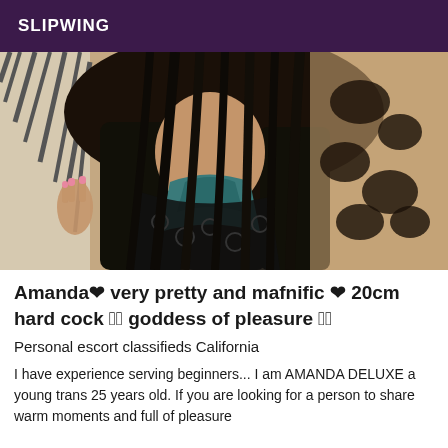SLIPWING
[Figure (photo): Photo of a person with long dark hair wearing a black lace outfit with teal/blue top, posed indoors.]
Amanda❤ very pretty and mafnific ❤ 20cm hard cock ❤🏻 goddess of pleasure ❤🏻
Personal escort classifieds California
I have experience serving beginners... I am AMANDA DELUXE a young trans 25 years old. If you are looking for a person to share warm moments and full of pleasure